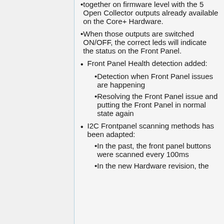together on firmware level with the 5 Open Collector outputs already available on the Core+ Hardware.
When those outputs are switched ON/OFF, the correct leds will indicate the status on the Front Panel.
Front Panel Health detection added:
Detection when Front Panel issues are happening
Resolving the Front Panel issue and putting the Front Panel in normal state again
I2C Frontpanel scanning methods has been adapted:
In the past, the front panel buttons were scanned every 100ms
In the new Hardware revision, the